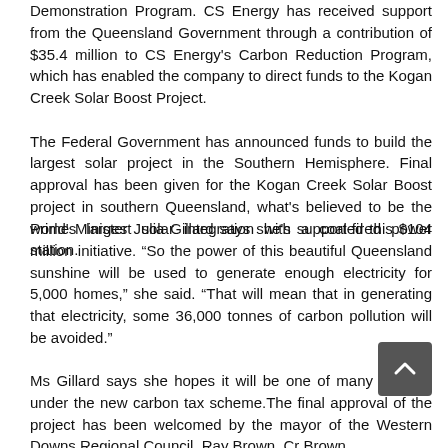Demonstration Program. CS Energy has received support from the Queensland Government through a contribution of $35.4 million to CS Energy's Carbon Reduction Program, which has enabled the company to direct funds to the Kogan Creek Solar Boost Project. The Federal Government has announced funds to build the largest solar project in the Southern Hemisphere. Final approval has been given for the Kogan Creek Solar Boost project in southern Queensland, what's believed to be the world's largest solar integration with a coal-fired power station.
Prime Minister Julia Gillard says she's supported this $104 million initiative. "So the power of this beautiful Queensland sunshine will be used to generate enough electricity for 5,000 homes," she said. "That will mean that in generating that electricity, some 36,000 tonnes of carbon pollution will be avoided."
Ms Gillard says she hopes it will be one of many projects under the new carbon tax scheme.The final approval of the project has been welcomed by the mayor of the Western Downs Regional Council, Ray Brown. Cr Brown